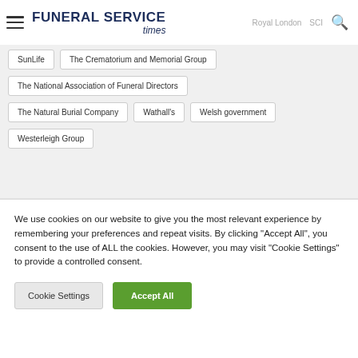Funeral Service Times
SunLife
The Crematorium and Memorial Group
The National Association of Funeral Directors
The Natural Burial Company
Wathall's
Welsh government
Westerleigh Group
We use cookies on our website to give you the most relevant experience by remembering your preferences and repeat visits. By clicking "Accept All", you consent to the use of ALL the cookies. However, you may visit "Cookie Settings" to provide a controlled consent.
Cookie Settings | Accept All